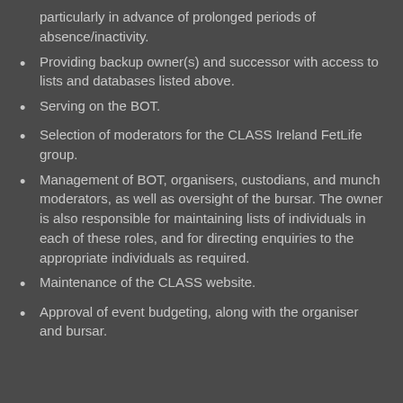particularly in advance of prolonged periods of absence/inactivity.
Providing backup owner(s) and successor with access to lists and databases listed above.
Serving on the BOT.
Selection of moderators for the CLASS Ireland FetLife group.
Management of BOT, organisers, custodians, and munch moderators, as well as oversight of the bursar. The owner is also responsible for maintaining lists of individuals in each of these roles, and for directing enquiries to the appropriate individuals as required.
Maintenance of the CLASS website.
Approval of event budgeting, along with the organiser and bursar.